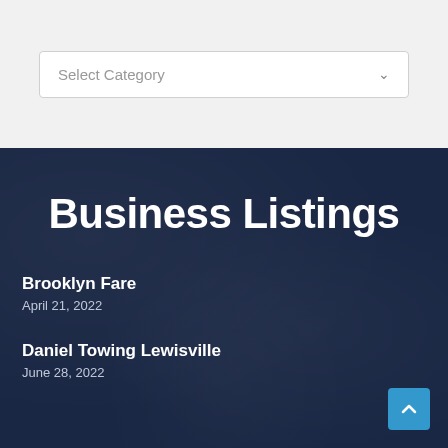[Figure (screenshot): A dropdown selector UI element with label 'Select Category' and a dropdown arrow, set on a light gray background]
Business Listings
Brooklyn Fare
April 21, 2022
Daniel Towing Lewisville
June 28, 2022